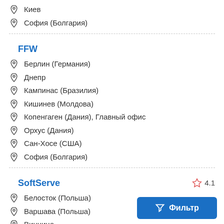Киев
София (Болгария)
FFW
Берлин (Германия)
Днепр
Кампинас (Бразилия)
Кишинев (Молдова)
Копенгаген (Дания), Главный офис
Орхус (Дания)
Сан-Хосе (США)
София (Болгария)
SoftServe
4.1
Белосток (Польша)
Варшава (Польша)
Винница
Фильтр